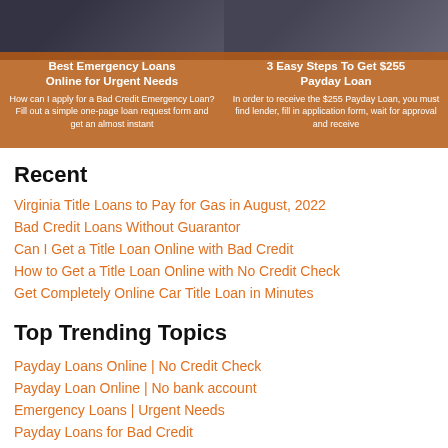[Figure (photo): Card showing Best Emergency Loans Online for Urgent Needs with dark background and orange overlay. Title: Best Emergency Loans Online for Urgent Needs. Text: How can I apply for a Bad Credit Emergency Loan? Fill out a simple one-page loan request form and get an almost instant]
[Figure (photo): Card showing 3 Easy Steps To Get $255 Payday Loan with hands holding money background and orange overlay. Text: In order to receive the $255 Payday Loan, you must find lender, fill in application form, wait for approval and receive]
Recent
Virginia Title Loans to Pay for Gas in August, 2022
Bad Credit Loans Without Guarantor
Can I Get a Title Loan Online with Bad Credit
How to Get a Title Loan Online with No Credit Check
Get Completely Online Car Title Loan in Minutes
Top Trending Topics
Payday Loans Online | No Credit Check
Payday Loan Online | No bank account
Emergency Loans | Urgent Needs
Payday Loans for Bad Credit
Social Security Disability Loans